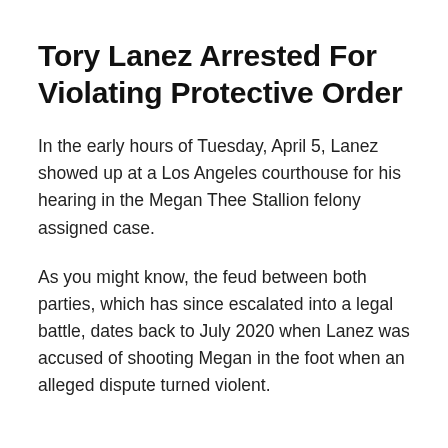Tory Lanez Arrested For Violating Protective Order
In the early hours of Tuesday, April 5, Lanez showed up at a Los Angeles courthouse for his hearing in the Megan Thee Stallion felony assigned case.
As you might know, the feud between both parties, which has since escalated into a legal battle, dates back to July 2020 when Lanez was accused of shooting Megan in the foot when an alleged dispute turned violent.